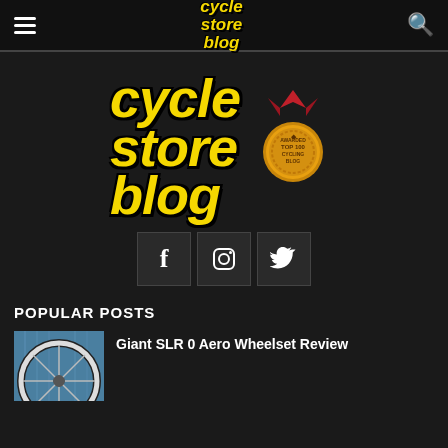cycle store blog
[Figure (logo): Cycle Store Blog logo with yellow italic bold text and gold medal award badge reading 'Awarded Top 100 Cycling Blog']
[Figure (infographic): Three social media icon buttons: Facebook (f), Instagram (camera), Twitter (bird)]
POPULAR POSTS
[Figure (photo): Thumbnail photo of a bicycle wheel with blue background]
Giant SLR 0 Aero Wheelset Review